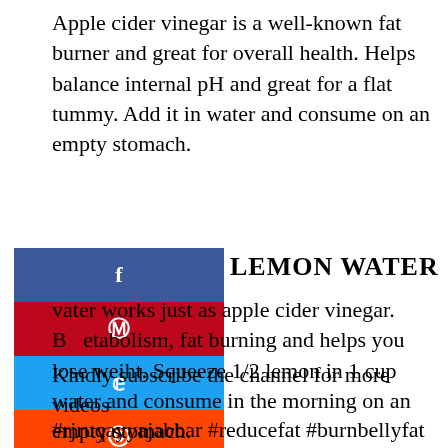Apple cider vinegar is a well-known fat burner and great for overall health. Helps balance internal pH and great for a flat tummy. Add it in water and consume on an empty stomach.
LEMON WATER
water works just as apple cider vinegar. Boost metabolism, fat burning and helps you lose weight. Squeeze 1/2 lemon in 1 cup water and consume in the morning on an empty stomach.
Kindly subscribe the channel for more videos
#rjruqayyajabbar #reducefat #burnbellyfat